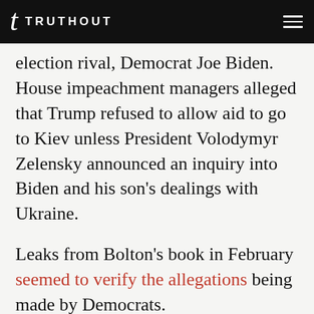TRUTHOUT
election rival, Democrat Joe Biden. House impeachment managers alleged that Trump refused to allow aid to go to Kiev unless President Volodymyr Zelensky announced an inquiry into Biden and his son’s dealings with Ukraine.
Leaks from Bolton’s book in February seemed to verify the allegations being made by Democrats.
Bolton, however, refused to voluntarily testify and vowed to fight any subpoena attempts from